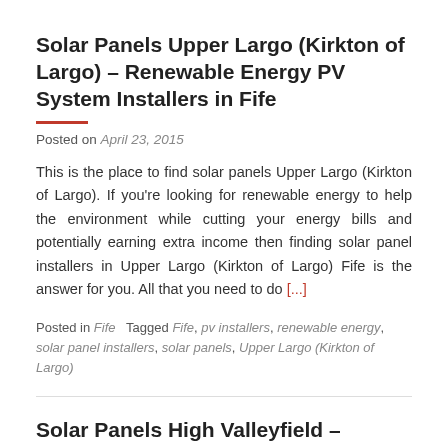Solar Panels Upper Largo (Kirkton of Largo) – Renewable Energy PV System Installers in Fife
Posted on April 23, 2015
This is the place to find solar panels Upper Largo (Kirkton of Largo). If you're looking for renewable energy to help the environment while cutting your energy bills and potentially earning extra income then finding solar panel installers in Upper Largo (Kirkton of Largo) Fife is the answer for you. All that you need to do [...]
Posted in Fife   Tagged Fife, pv installers, renewable energy, solar panel installers, solar panels, Upper Largo (Kirkton of Largo)
Solar Panels High Valleyfield – Renewable Energy PV System